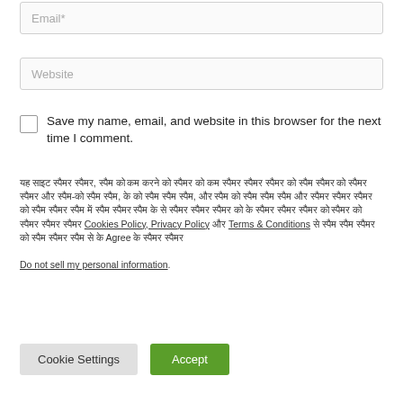Email*
Website
Save my name, email, and website in this browser for the next time I comment.
यह साइट स्पैमर स्पैमर, स्पैम को कम करने को स्पैमर को कम स्पैमर स्पैमर स्पैमर को स्पैम स्पैमर को स्पैमर स्पैमर और स्पैम-को स्पैम स्पैम, के को स्पैम स्पैम स्पैम, और स्पैम को स्पैम स्पैम स्पैम और स्पैमर स्पैमर स्पैमर को स्पैम स्पैमर स्पैम में स्पैम स्पैमर स्पैम के से स्पैमर स्पैमर स्पैमर को के स्पैमर स्पैमर स्पैमर को स्पैमर को स्पैमर स्पैमर स्पैमर Cookies Policy, Privacy Policy और Terms & Conditions से स्पैम स्पैम स्पैमर को स्पैम स्पैमर स्पैम से के Agree के स्पैमर स्पैमर
Do not sell my personal information.
Cookie Settings
Accept